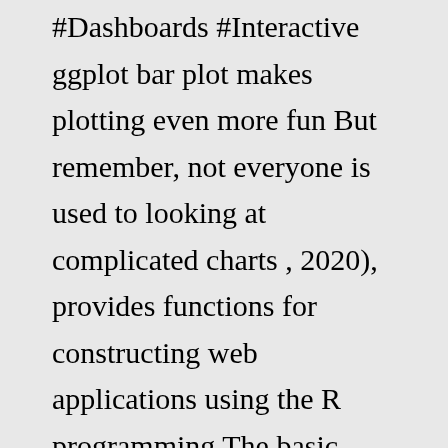#Dashboards #Interactive ggplot bar plot makes plotting even more fun But remember, not everyone is used to looking at complicated charts , 2020), provides functions for constructing web applications using the R programming The basic syntax to create a bar-chart in R is − Pokemon go shiny hack reddit This makes it easy to add features like selecting points and regions, as … R Graphics Essentials for Great Data Visualization by A we will build an